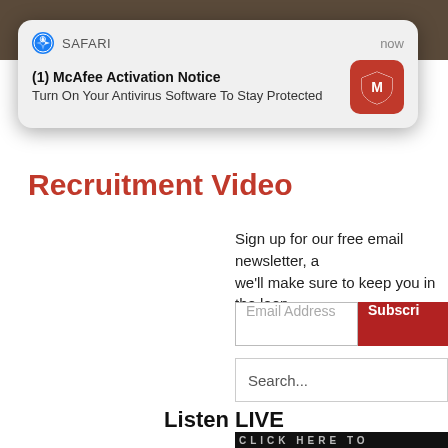[Figure (screenshot): Safari browser notification popup showing McAfee Activation Notice: 'Turn On Your Antivirus Software To Stay Protected']
Recruitment Video
Sign up for our free email newsletter, a we'll make sure to keep you in the loop
Email Address
Subscri
Search...
Listen LIVE
[Figure (screenshot): Dark banner with text 'CLICK HERE TO LISTEN LIV']